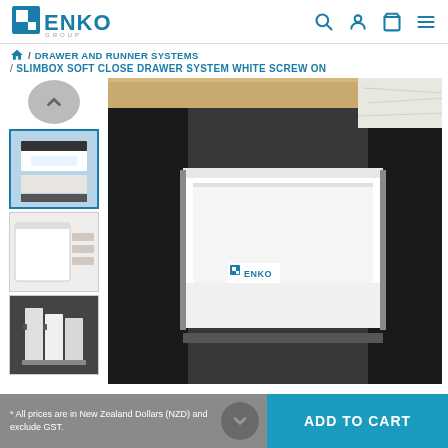[Figure (logo): ENKO GROUP logo in teal/blue color with stylized F-E graphic mark]
/ DRAWER AND RUNNER SYSTEMS
/ SLIMBOX SOFT CLOSE DRAWER SYSTEM WHITE SCREW ON
[Figure (photo): Thumbnail 1: White drawer system installed in dark cabinet, multiple drawers visible]
[Figure (photo): Thumbnail 2: Close-up of white drawer side profile and runner mechanism]
[Figure (photo): Thumbnail 3: Drawer divider/organizer accessories on dark background]
[Figure (photo): Main product image: White ENKO slimbox soft close drawer system installed in dark cabinet, open drawer showing interior, ENKO logo visible on side]
* All prices are in New Zealand Dollars (NZD) and exclude GST.
ADD TO CART